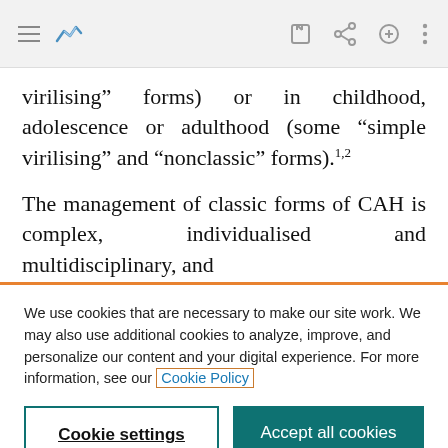Browser toolbar with hamburger menu, bookmark icon, edit icon, share icon, search icon, more options icon
virilising” forms) or in childhood, adolescence or adulthood (some “simple virilising” and “nonclassic” forms).¹²
The management of classic forms of CAH is complex, individualised and multidisciplinary, and
We use cookies that are necessary to make our site work. We may also use additional cookies to analyze, improve, and personalize our content and your digital experience. For more information, see our Cookie Policy
Cookie settings
Accept all cookies